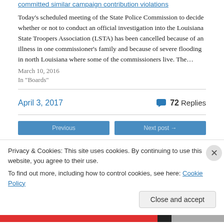committed similar campaign contribution violations
Today’s scheduled meeting of the State Police Commission to decide whether or not to conduct an official investigation into the Louisiana State Troopers Association (LSTA) has been cancelled because of an illness in one commissioner’s family and because of severe flooding in north Louisiana where some of the commissioners live. The…
March 10, 2016
In "Boards"
April 3, 2017
72 Replies
Privacy & Cookies: This site uses cookies. By continuing to use this website, you agree to their use.
To find out more, including how to control cookies, see here: Cookie Policy
Close and accept